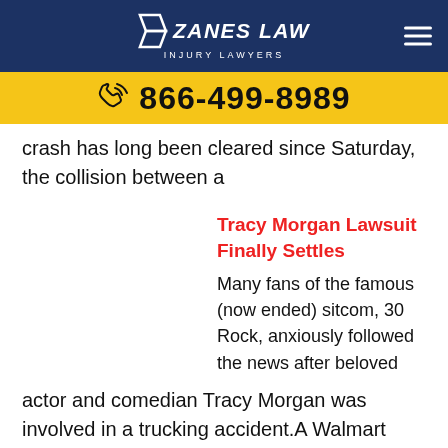[Figure (logo): Zanes Law Injury Lawyers logo with hamburger menu on dark blue navigation bar]
[Figure (infographic): Yellow phone bar with phone icon and number 866-499-8989]
crash has long been cleared since Saturday, the collision between a
Tracy Morgan Lawsuit Finally Settles
Many fans of the famous (now ended) sitcom, 30 Rock, anxiously followed the news after beloved actor and comedian Tracy Morgan was involved in a trucking accident.A Walmart tractor-trailer